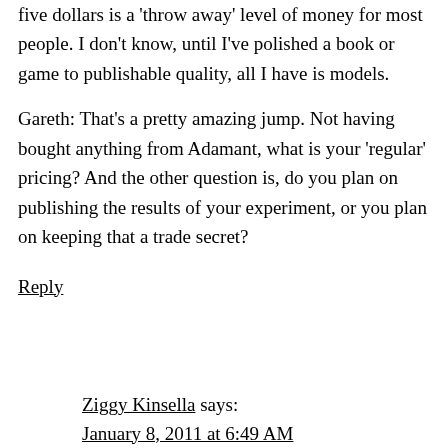five dollars is a 'throw away' level of money for most people. I don't know, until I've polished a book or game to publishable quality, all I have is models.
Gareth: That's a pretty amazing jump. Not having bought anything from Adamant, what is your 'regular' pricing? And the other question is, do you plan on publishing the results of your experiment, or you plan on keeping that a trade secret?
Reply
Ziggy Kinsella says:
January 8, 2011 at 6:49 AM